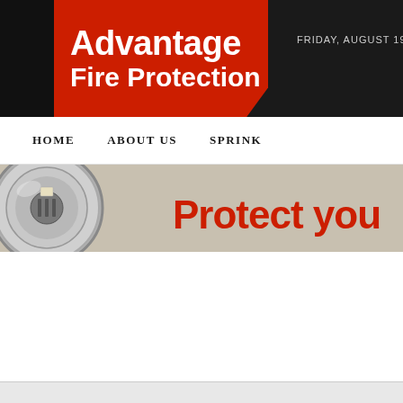FRIDAY, AUGUST 19, 2022
Advantage Fire Protection
HOME   ABOUT US   SPRINK
[Figure (screenshot): Website header banner showing a close-up of a fire sprinkler head on the left side with the partial text 'Protect you' in bold red on the right side, on a beige/gray background.]